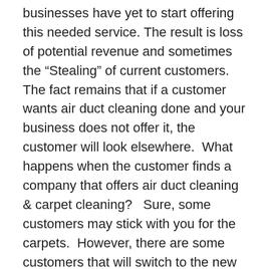businesses have yet to start offering this needed service. The result is loss of potential revenue and sometimes the “Stealing” of current customers. The fact remains that if a customer wants air duct cleaning done and your business does not offer it, the customer will look elsewhere. What happens when the customer finds a company that offers air duct cleaning & carpet cleaning? Sure, some customers may stick with you for the carpets. However, there are some customers that will switch to the new company, because they like the “other” services the new company brought to the table.
Don’t give your competition the chance to entice your customer base with value added services. Take a moment to entertain the idea of offering Air Duct Cleaning. Check out our SpinVax 1000XT Air Duct & Dryer Vent Cleaning